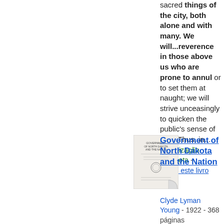sacred things of the city, both alone and with many. We will...reverence in those above us who are prone to annul or to set them at naught; we will strive unceasingly to quicken the public's sense of duty. Thus, in...
Visualização completa - Sobre este livro
[Figure (photo): Book cover thumbnail for Government of North Dakota and the Nation]
Government of North Dakota and the Nation
Clyde Lyman Young - 1922 - 368 páginas ...cowardice, nor ever desert